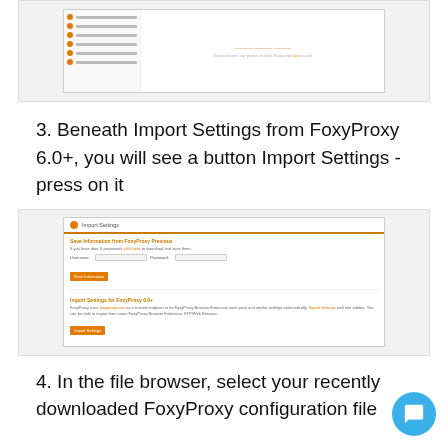[Figure (screenshot): Screenshot of a web interface showing a sidebar with orange icons and a content area with placeholder text]
3. Beneath Import Settings from FoxyProxy 6.0+, you will see a button Import Settings - press on it
[Figure (screenshot): Screenshot of FoxyProxy Import Settings page showing two sections: 'Save Information from FoxyProxy Previous' and 'Import Settings for FoxyProxy 6.0+' with orange buttons]
4. In the file browser, select your recently downloaded FoxyProxy configuration file